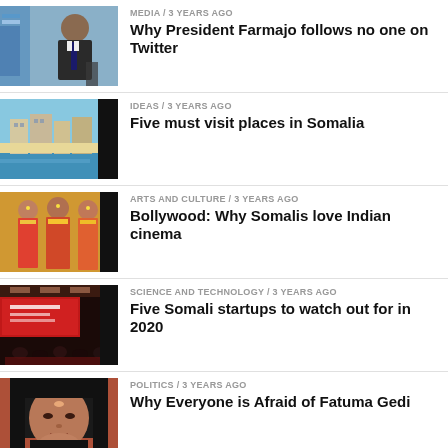[Figure (photo): Portrait of President Farmajo in suit with Somali flag background]
MEDIA / 3 years ago
Why President Farmajo follows no one on Twitter
[Figure (photo): Coastal city view of Somalia with beach and buildings]
IDEAS / 3 years ago
Five must visit places in Somalia
[Figure (photo): Bollywood dancers in colorful traditional Indian attire]
ARTS AND CULTURE / 3 years ago
Bollywood: Why Somalis love Indian cinema
[Figure (photo): Conference or seminar room with red branding and audience]
SCIENCE AND TECHNOLOGY / 3 years ago
Five Somali startups to watch out for in 2020
[Figure (photo): Portrait of Fatuma Gedi wearing black hijab]
POLITICS / 3 years ago
Why Everyone is Afraid of Fatuma Gedi